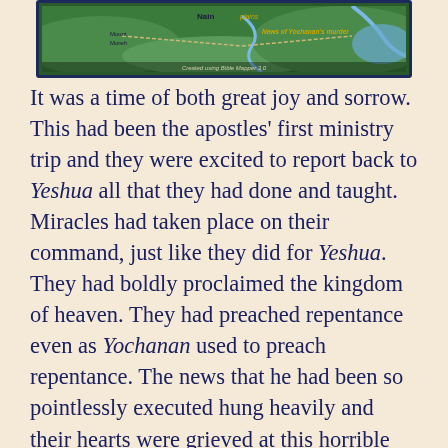[Figure (map): A Bible Mapper map showing the region around Nain and Mount Moreh, with labels for 'plains', 'News of Yochanan's murder', and a caption 'Created using Bible Mapper 3.0'. The map has a green landscape with blue water features and a dark blue border.]
It was a time of both great joy and sorrow. This had been the apostles' first ministry trip and they were excited to report back to Yeshua all that they had done and taught. Miracles had taken place on their command, just like they did for Yeshua. They had boldly proclaimed the kingdom of heaven. They had preached repentance even as Yochanan used to preach repentance. The news that he had been so pointlessly executed hung heavily and their hearts were grieved at this horrible injustice and terrible loss. Yet, they could see in their own actions that all Yochanan had told them about Yeshua was true, and they were getting